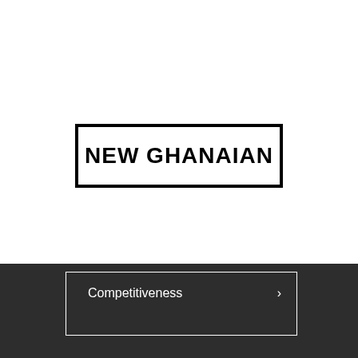[Figure (logo): NEW GHANAIAN logo — bold black text inside a thick black rectangular border on white background]
Competitiveness